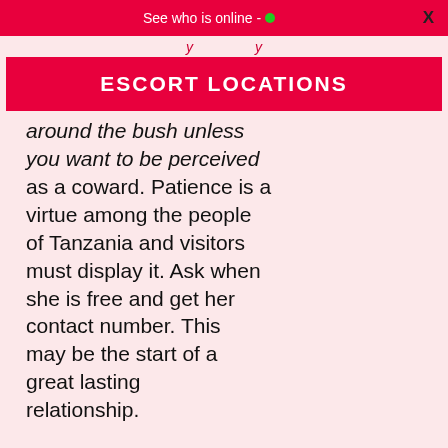See who is online - •
ESCORT LOCATIONS
around the bush unless you want to be perceived as a coward. Patience is a virtue among the people of Tanzania and visitors must display it. Ask when she is free and get her contact number. This may be the start of a great lasting relationship.

Relations outside marriage are considered taboo. However, you will probably have a better chance of picking girls